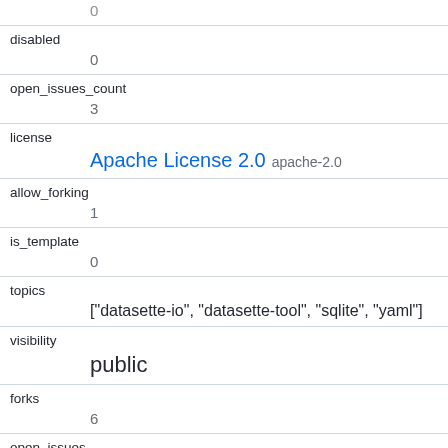| key | value |
| --- | --- |
| (truncated top) | 0 |
| disabled | 0 |
| open_issues_count | 3 |
| license | Apache License 2.0  apache-2.0 |
| allow_forking | 1 |
| is_template | 0 |
| topics | ["datasette-io", "datasette-tool", "sqlite", "yaml"] |
| visibility | public |
| forks | 6 |
| open_issues | 3 |
| watchers | 48 |